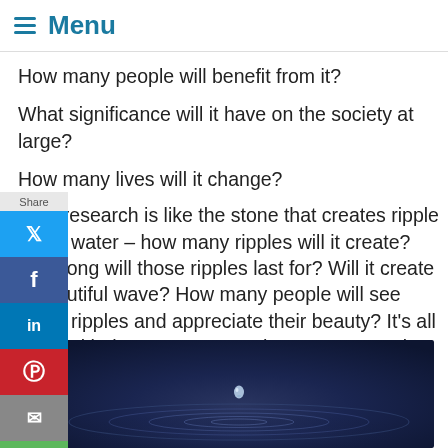Menu
How many people will benefit from it?
What significance will it have on the society at large?
How many lives will it change?
Your research is like the stone that creates ripple in the water – how many ripples will it create? How long will those ripples last for? Will it create a beautiful wave? How many people will see those ripples and appreciate their beauty? It's all to do with the way you cast that stone. You aim, you calculate and you plan.
[Figure (photo): Close-up photograph of a water droplet creating ripples on a dark blue water surface, droplet suspended above the water.]